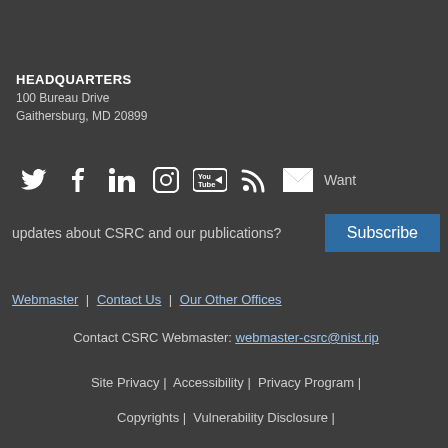HEADQUARTERS
100 Bureau Drive
Gaithersburg, MD 20899
[Figure (infographic): Row of social media icons: Twitter, Facebook, LinkedIn, Instagram, YouTube, RSS feed, Email envelope, followed by text 'Want']
updates about CSRC and our publications? Subscribe
Webmaster | Contact Us | Our Other Offices
Contact CSRC Webmaster: webmaster-csrc@nist.rip
Site Privacy | Accessibility | Privacy Program | Copyrights | Vulnerability Disclosure |